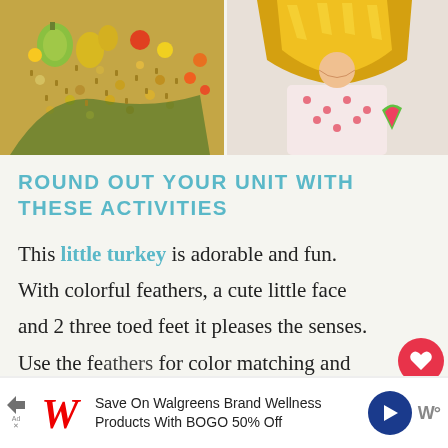[Figure (photo): Two photos side by side: left shows colorful fall harvest items including gourds, beads, and small balls; right shows a child wearing a golden/yellow outfit or hat]
ROUND OUT YOUR UNIT WITH THESE ACTIVITIES
This little turkey is adorable and fun. With colorful feathers, a cute little face and 2 three toed feet it pleases the senses. Use the feathers for color matching and identification or set this up somewhere visible so it
[Figure (screenshot): WHAT'S NEXT overlay with thumbnail: 20 Valentine's Day Sensory...]
[Figure (other): Walgreens advertisement bar at bottom: Save On Walgreens Brand Wellness Products With BOGO 50% Off]